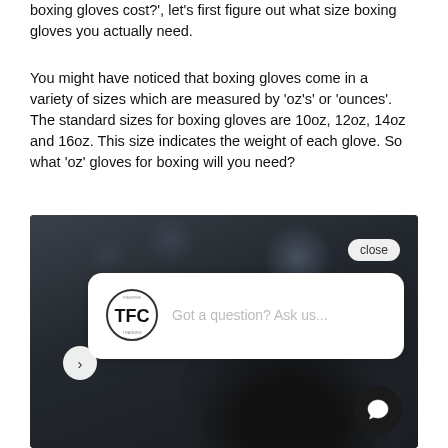boxing gloves cost?', let's first figure out what size boxing gloves you actually need.
You might have noticed that boxing gloves come in a variety of sizes which are measured by 'oz's' or 'ounces'. The standard sizes for boxing gloves are 10oz, 12oz, 14oz and 16oz. This size indicates the weight of each glove. So what 'oz' gloves for boxing will you need?
[Figure (screenshot): Screenshot of a dark boxing-themed webpage with a chat widget overlay. The widget shows a TFC logo and the prompt 'Got a question? Ask us...' with a close button. A dark background shows a boxer wearing black gloves. Navigation arrow on left side and chat icon on bottom right.]